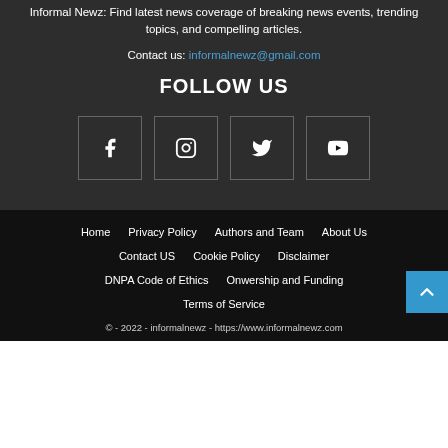Informal Newz: Find latest news coverage of breaking news events, trending topics, and compelling articles.
Contact us: informalnewz@gmail.com
FOLLOW US
[Figure (illustration): Four social media icon boxes: Facebook, Instagram, Twitter, YouTube]
Home  Privacy Policy  Authors and Team  About Us  Contact US  Cookie Policy  Disclaimer  DNPA Code of Ethics  Onwership and Funding  Terms of Service
© - 2022 - informalnewz - https://www.informalnewz.com